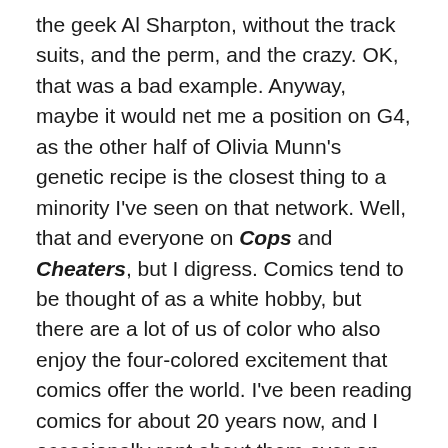the geek Al Sharpton, without the track suits, and the perm, and the crazy. OK, that was a bad example. Anyway, maybe it would net me a position on G4, as the other half of Olivia Munn's genetic recipe is the closest thing to a minority I've seen on that network. Well, that and everyone on Cops and Cheaters, but I digress. Comics tend to be thought of as a white hobby, but there are a lot of us of color who also enjoy the four-colored excitement that comics offer the world. I've been reading comics for about 20 years now, and I occasionally rant about them over on my site, williambrucewest.com. Today, it was announced that the next Spider-Man in Marvel's Ultimate Comics line would be half-Hispanic and half-black. Naturally, this is the kind of thing that America's Top Blerd would be called upon to discuss. To be honest, I'm feeling a bit lazy today, but the people have spoken, so I must answer the call!